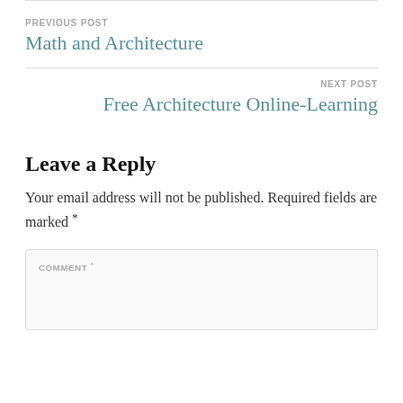PREVIOUS POST
Math and Architecture
NEXT POST
Free Architecture Online-Learning
Leave a Reply
Your email address will not be published. Required fields are marked *
COMMENT *